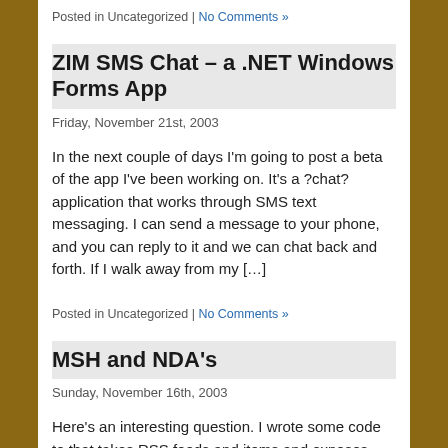Posted in Uncategorized | No Comments »
ZIM SMS Chat – a .NET Windows Forms App
Friday, November 21st, 2003
In the next couple of days I'm going to post a beta of the app I've been working on.  It's a ?chat? application that works through SMS text messaging.  I can send a message to your phone, and you can reply to it and we can chat back and forth.  If I walk away from my […]
Posted in Uncategorized | No Comments »
MSH and NDA's
Sunday, November 16th, 2003
Here's an interesting question.  I wrote some code to that takes RSS feeds and items and exposes them as objects in Microsoft's new